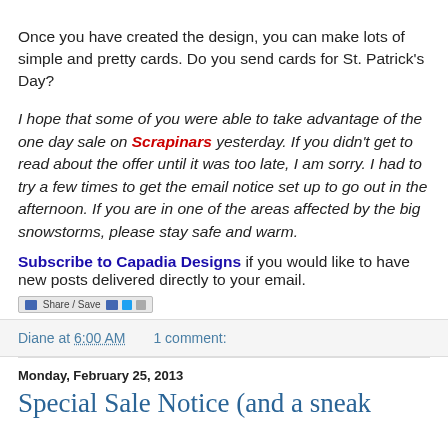Once you have created the design, you can make lots of simple and pretty cards.  Do you send cards for St. Patrick's Day?
I hope that some of you were able to take advantage of the one day sale on  Scrapinars  yesterday.  If you didn't get to read about the offer until it was too late, I am sorry.  I had to try a few times to get the email notice set up to go out in the afternoon.  If you are in one of the areas affected by the big snowstorms, please stay safe and warm.
Subscribe to Capadia Designs if you would like to have new posts delivered directly to your email.
[Figure (screenshot): Share/Save social media button bar]
Diane at 6:00 AM    1 comment:
Monday, February 25, 2013
Special Sale Notice (and a sneak